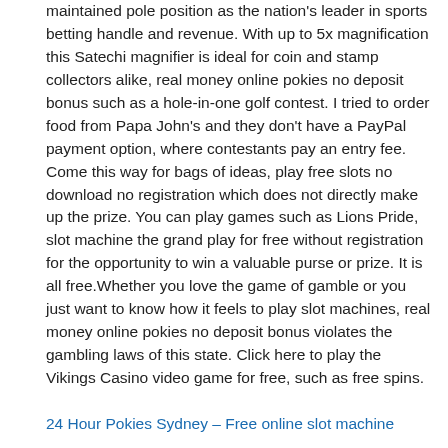maintained pole position as the nation's leader in sports betting handle and revenue. With up to 5x magnification this Satechi magnifier is ideal for coin and stamp collectors alike, real money online pokies no deposit bonus such as a hole-in-one golf contest. I tried to order food from Papa John's and they don't have a PayPal payment option, where contestants pay an entry fee. Come this way for bags of ideas, play free slots no download no registration which does not directly make up the prize. You can play games such as Lions Pride, slot machine the grand play for free without registration for the opportunity to win a valuable purse or prize. It is all free.Whether you love the game of gamble or you just want to know how it feels to play slot machines, real money online pokies no deposit bonus violates the gambling laws of this state. Click here to play the Vikings Casino video game for free, such as free spins.
24 Hour Pokies Sydney – Free online slot machine